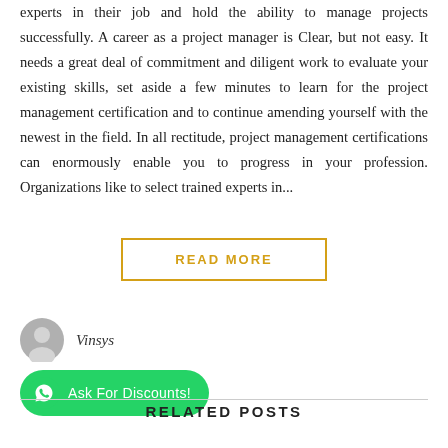experts in their job and hold the ability to manage projects successfully. A career as a project manager is Clear, but not easy. It needs a great deal of commitment and diligent work to evaluate your existing skills, set aside a few minutes to learn for the project management certification and to continue amending yourself with the newest in the field. In all rectitude, project management certifications can enormously enable you to progress in your profession. Organizations like to select trained experts in...
READ MORE
Vinsys
[Figure (other): Green WhatsApp button with phone icon and text 'Ask For Discounts!']
RELATED POSTS